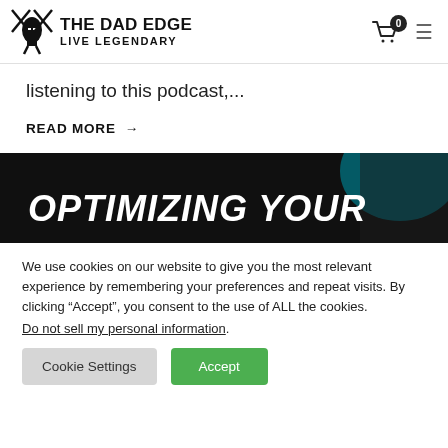THE DAD EDGE LIVE LEGENDARY
listening to this podcast,...
READ MORE →
[Figure (photo): Dark banner image with text 'OPTIMIZING YOUR' in white italic bold font, with a partial figure visible on the right side against a blue background]
We use cookies on our website to give you the most relevant experience by remembering your preferences and repeat visits. By clicking "Accept", you consent to the use of ALL the cookies. Do not sell my personal information.
Cookie Settings  Accept